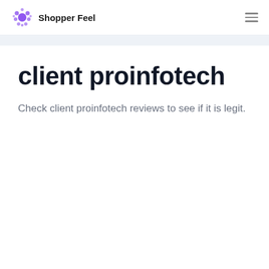Shopper Feel
client proinfotech
Check client proinfotech reviews to see if it is legit.